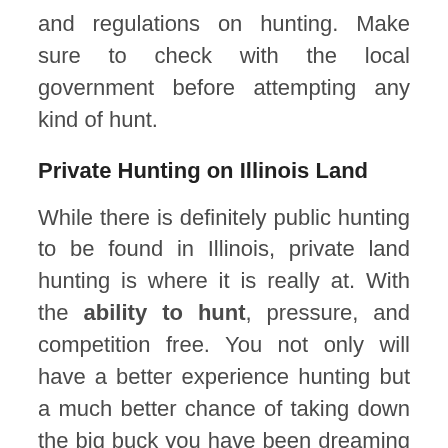and regulations on hunting. Make sure to check with the local government before attempting any kind of hunt.
Private Hunting on Illinois Land
While there is definitely public hunting to be found in Illinois, private land hunting is where it is really at. With the ability to hunt, pressure, and competition free. You not only will have a better experience hunting but a much better chance of taking down the big buck you have been dreaming about. Land for sale in Illinois goes fast, so if you see a property, jump